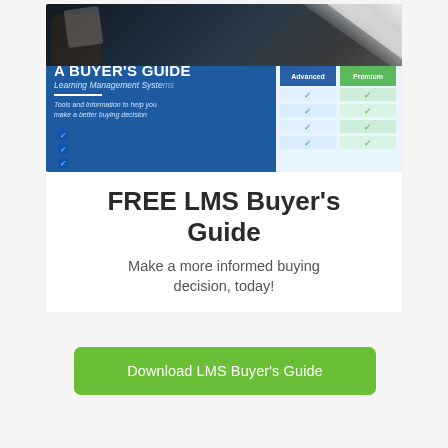[Figure (illustration): Cover image of LMS Buyer's Guide showing people with tablets, a blue banner reading 'A BUYER'S GUIDE Learning Management Systems', tools and information tagline, and a comparison table with Advanced and Premium columns with checkmarks.]
FREE LMS Buyer's Guide
Make a more informed buying decision, today!
Download LMS Buyer's Guide